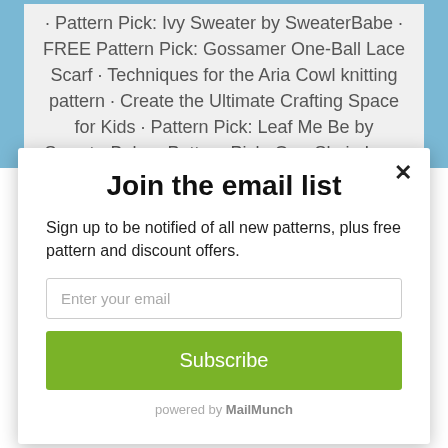• Pattern Pick: Ivy Sweater by SweaterBabe • FREE Pattern Pick: Gossamer One-Ball Lace Scarf • Techniques for the Aria Cowl knitting pattern • Create the Ultimate Crafting Space for Kids • Pattern Pick: Leaf Me Be by SweaterBabe • Pattern Pick: One-Skein Lace Fingerless Gloves • FREE Pattern Pick: Double Cabled Cowl • Pattern Pick: Laguna Ribbed Scarf by SweaterBabe • Pattern
Join the email list
Sign up to be notified of all new patterns, plus free pattern and discount offers.
Enter your email
Subscribe
powered by MailMunch